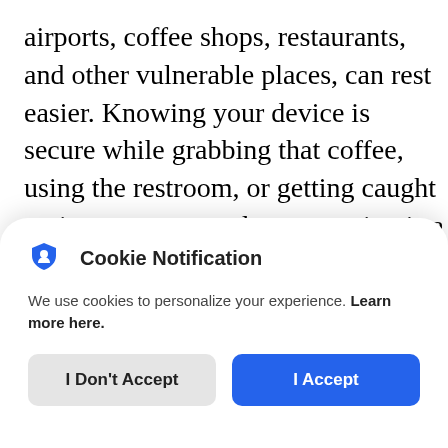airports, coffee shops, restaurants, and other vulnerable places, can rest easier. Knowing your device is secure while grabbing that coffee, using the restroom, or getting caught up in an unexpected conversation is a game-changer.
Watch out for more from TechLok Solutions
Cookie Notification
We use cookies to personalize your experience. Learn more here.
I Don't Accept | I Accept